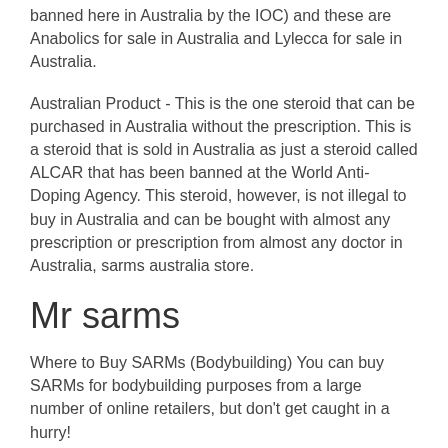banned here in Australia by the IOC) and these are Anabolics for sale in Australia and Lylecca for sale in Australia.
Australian Product - This is the one steroid that can be purchased in Australia without the prescription. This is a steroid that is sold in Australia as just a steroid called ALCAR that has been banned at the World Anti-Doping Agency. This steroid, however, is not illegal to buy in Australia and can be bought with almost any prescription or prescription from almost any doctor in Australia, sarms australia store.
Mr sarms
Where to Buy SARMs (Bodybuilding) You can buy SARMs for bodybuilding purposes from a large number of online retailers, but don't get caught in a hurry!